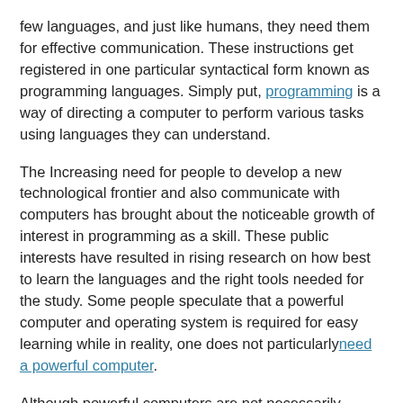few languages, and just like humans, they need them for effective communication. These instructions get registered in one particular syntactical form known as programming languages. Simply put, programming is a way of directing a computer to perform various tasks using languages they can understand.
The Increasing need for people to develop a new technological frontier and also communicate with computers has brought about the noticeable growth of interest in programming as a skill. These public interests have resulted in rising research on how best to learn the languages and the right tools needed for the study. Some people speculate that a powerful computer and operating system is required for easy learning while in reality, one does not particularly need a powerful computer.
Although powerful computers are not necessarily needed to learn how to program, a good computer is essential for a